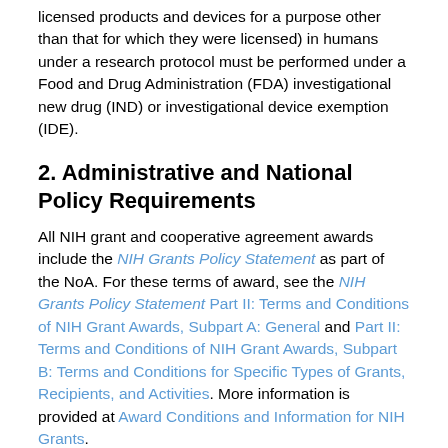licensed products and devices for a purpose other than that for which they were licensed) in humans under a research protocol must be performed under a Food and Drug Administration (FDA) investigational new drug (IND) or investigational device exemption (IDE).
2. Administrative and National Policy Requirements
All NIH grant and cooperative agreement awards include the NIH Grants Policy Statement as part of the NoA. For these terms of award, see the NIH Grants Policy Statement Part II: Terms and Conditions of NIH Grant Awards, Subpart A: General and Part II: Terms and Conditions of NIH Grant Awards, Subpart B: Terms and Conditions for Specific Types of Grants, Recipients, and Activities. More information is provided at Award Conditions and Information for NIH Grants.
Recipients of federal financial assistance (FFA) from HHS must administer their programs in compliance with federal civil rights laws that prohibit discrimination on the basis of race, color, national origin, disability, age and, in some circumstances, religion, conscience, and sex. This includes ensuring programs are accessible to persons with limited English proficiency. The HHS Office for Civil Rights provides guidance on complying with